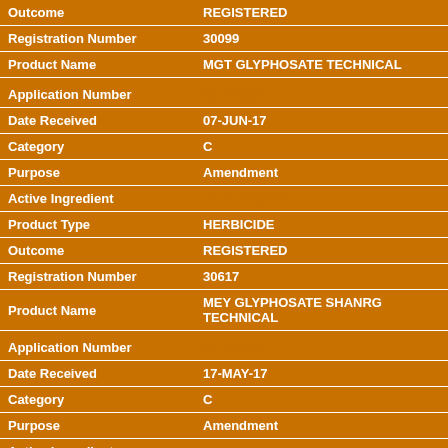| Field | Value |
| --- | --- |
| Outcome | REGISTERED |
| Registration Number | 30099 |
| Product Name | MGT GLYPHOSATE TECHNICAL |
| Application Number | 2017-2860 |
| Date Received | 07-JUN-17 |
| Category | C |
| Purpose | Amendment |
| Active Ingredient | GLYPHOSATE |
| Product Type | HERBICIDE |
| Outcome | REGISTERED |
| Registration Number | 30617 |
| Product Name | MEY GLYPHOSATE SHANRG TECHNICAL |
| Application Number | 2017-2568 |
| Date Received | 17-MAY-17 |
| Category | C |
| Purpose | Amendment |
| Active Ingredient | GLYPHOSATE |
| Product Type | HERBICIDE |
| Outcome | REGISTERED |
| Registration Number | 28857 |
| Product Name | NUFARM GLYPHOSATE TECHNICAL ACID |
| Application Number | 2017-2442 |